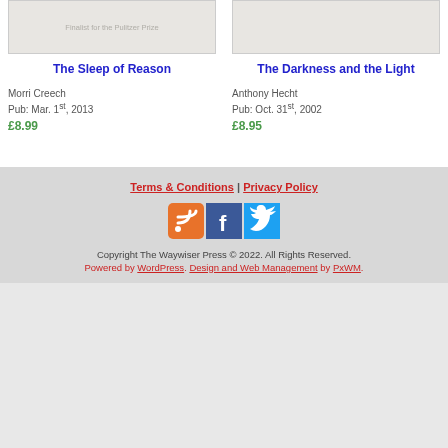[Figure (illustration): Book cover for The Sleep of Reason with text 'Finalist for the Pulitzer Prize']
[Figure (illustration): Book cover for The Darkness and the Light (blank/light colored)]
The Sleep of Reason
The Darkness and the Light
Morri Creech
Pub: Mar. 1st, 2013
£8.99
Anthony Hecht
Pub: Oct. 31st, 2002
£8.95
Terms & Conditions | Privacy Policy
Copyright The Waywiser Press © 2022. All Rights Reserved.
Powered by WordPress. Design and Web Management by PxWM.